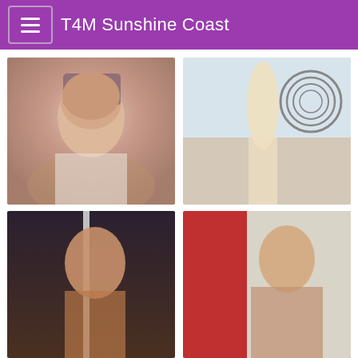T4M Sunshine Coast
[Figure (photo): Portrait photo of a person with short brown/grey hair wearing a mesh top and white cardigan]
[Figure (photo): Full body photo of a blonde person wearing black lingerie standing in a bedroom with a spiral artwork on the wall]
[Figure (photo): Photo of a person with long brown hair near a pole]
[Figure (photo): Photo of a person with long auburn hair wearing fishnet stockings sitting on a bed with red wall background]